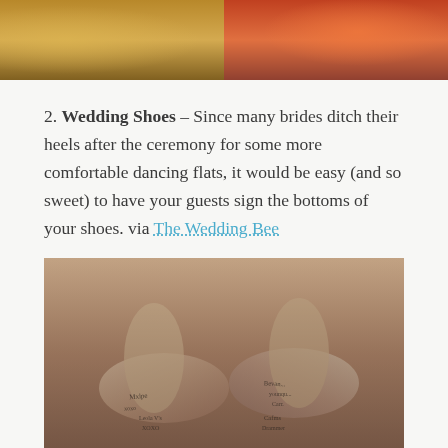[Figure (photo): Two photos side by side at top: left photo shows a warm golden-toned scene, right photo shows a child with orange/red colors]
2. Wedding Shoes – Since many brides ditch their heels after the ceremony for some more comfortable dancing flats, it would be easy (and so sweet) to have your guests sign the bottoms of your shoes. via The Wedding Bee
[Figure (photo): Sepia-toned photograph of two silver/metallic high heel shoes with signatures written on the soles, displayed upside down showing the bottoms]